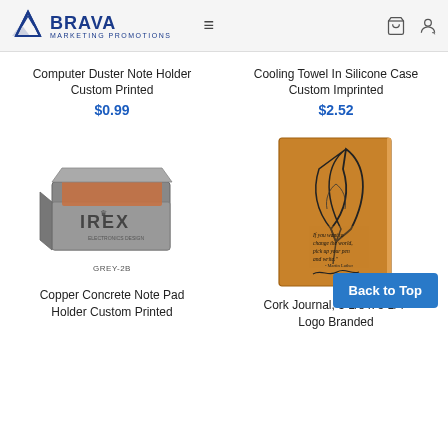Brava Marketing Promotions
Computer Duster Note Holder Custom Printed
$0.99
Cooling Towel In Silicone Case Custom Imprinted
$2.52
[Figure (photo): Product photo of a grey concrete note pad holder with copper-colored paper, branded with IREX logo. Caption: GREY-2B]
[Figure (photo): Product photo of a cork journal with a feather/quill pen illustration and a motivational quote on the cover.]
Copper Concrete Note Pad Holder Custom Printed
Cork Journal, 5 1/8 x 8 1/4" Logo Branded
Back to Top